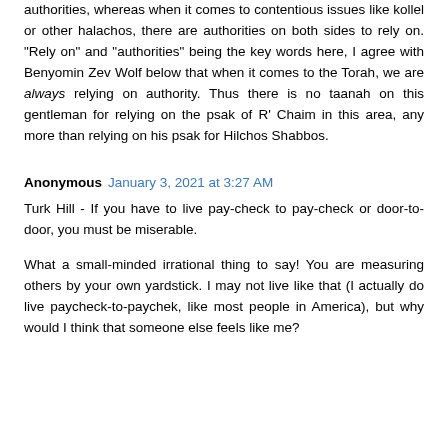authorities, whereas when it comes to contentious issues like kollel or other halachos, there are authorities on both sides to rely on. "Rely on" and "authorities" being the key words here, I agree with Benyomin Zev Wolf below that when it comes to the Torah, we are always relying on authority. Thus there is no taanah on this gentleman for relying on the psak of R' Chaim in this area, any more than relying on his psak for Hilchos Shabbos.
Anonymous January 3, 2021 at 3:27 AM
Turk Hill - If you have to live pay-check to pay-check or door-to-door, you must be miserable.
What a small-minded irrational thing to say! You are measuring others by your own yardstick. I may not live like that (I actually do live paycheck-to-paychek, like most people in America), but why would I think that someone else feels like me?